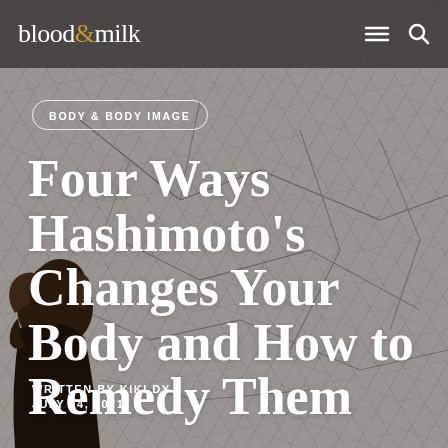blood & milk
BODY & BODY IMAGE
Four Ways Hashimoto's Changes Your Body and How to Remedy Them
WRITTEN BY KIKI DY
JULY 14, 2021
[Figure (photo): Background photo of cracked dry earth texture with a person's dark hair visible in the lower left corner]